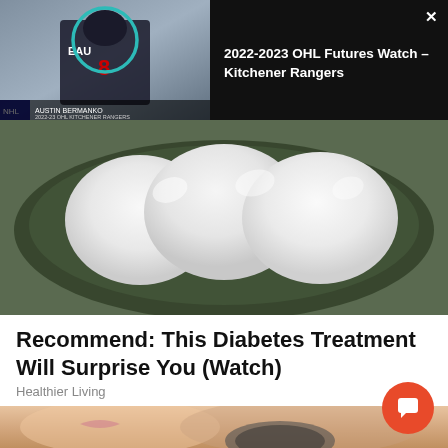[Figure (screenshot): Video overlay showing hockey player with teal circle annotation, black panel with video title '2022-2023 OHL Futures Watch – Kitchener Rangers' and close button]
[Figure (photo): Close-up photo of white eggs in a dark green-rimmed bowl or plate]
Recommend: This Diabetes Treatment Will Surprise You (Watch)
Healthier Living
[Figure (photo): Close-up photo of a person's face/neck receiving a facial treatment with a round mirror or tool, skin-tone background, blurred]